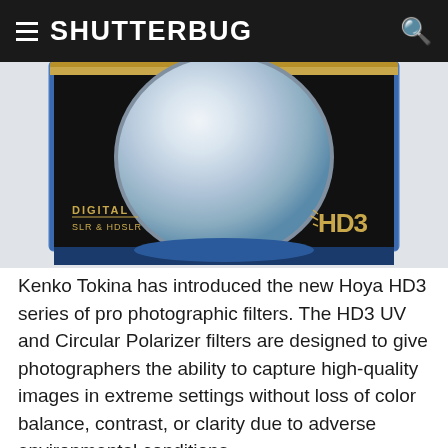SHUTTERBUG
[Figure (photo): Product photo of a Hoya HD3 camera filter in blue and black packaging with gold text reading DIGITAL SLR & HDSLR and HD3 logo, showing the round filter glass element. Copyright Kenko Tokina USA, Inc.]
Kenko Tokina has introduced the new Hoya HD3 series of pro photographic filters. The HD3 UV and Circular Polarizer filters are designed to give photographers the ability to capture high-quality images in extreme settings without loss of color balance, contrast, or clarity due to adverse environmental conditions.